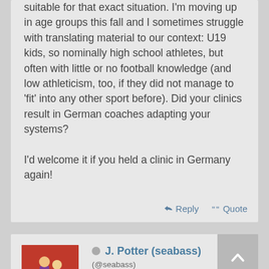suitable for that exact situation. I'm moving up in age groups this fall and I sometimes struggle with translating material to our context: U19 kids, so nominally high school athletes, but often with little or no football knowledge (and low athleticism, too, if they did not manage to 'fit' into any other sport before). Did your clinics result in German coaches adapting your systems?

I'd welcome it if you held a clinic in Germany again!
↩ Reply ❝ Quote
[Figure (photo): Avatar photo of J. Potter (seabass) showing people in sports attire]
J. Potter (seabass)
(@seabass)
Gold
Joined: 8 years ago   Posts: 1340